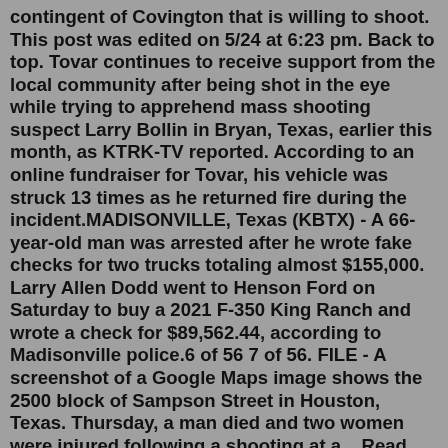contingent of Covington that is willing to shoot. This post was edited on 5/24 at 6:23 pm. Back to top. Tovar continues to receive support from the local community after being shot in the eye while trying to apprehend mass shooting suspect Larry Bollin in Bryan, Texas, earlier this month, as KTRK-TV reported. According to an online fundraiser for Tovar, his vehicle was struck 13 times as he returned fire during the incident.MADISONVILLE, Texas (KBTX) - A 66-year-old man was arrested after he wrote fake checks for two trucks totaling almost $155,000. Larry Allen Dodd went to Henson Ford on Saturday to buy a 2021 F-350 King Ranch and wrote a check for $89,562.44, according to Madisonville police.6 of 56 7 of 56. FILE - A screenshot of a Google Maps image shows the 2500 block of Sampson Street in Houston, Texas. Thursday, a man died and two women were injured following a shooting at a ...Read More President Joe Biden and first lady Jill Biden visit Robb Elementary School to pay their respects to the victims of the mass shooting, Sunday, May 29, 2022,